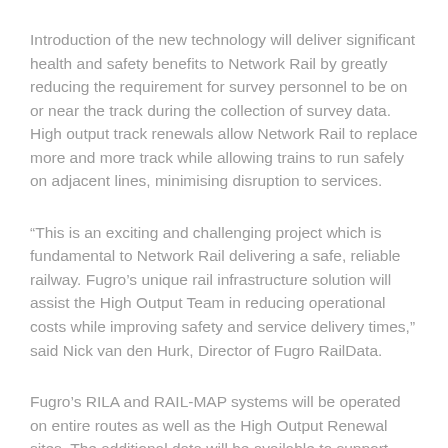Introduction of the new technology will deliver significant health and safety benefits to Network Rail by greatly reducing the requirement for survey personnel to be on or near the track during the collection of survey data. High output track renewals allow Network Rail to replace more and more track while allowing trains to run safely on adjacent lines, minimising disruption to services.
“This is an exciting and challenging project which is fundamental to Network Rail delivering a safe, reliable railway. Fugro’s unique rail infrastructure solution will assist the High Output Team in reducing operational costs while improving safety and service delivery times,” said Nick van den Hurk, Director of Fugro RailData.
Fugro’s RILA and RAIL-MAP systems will be operated on entire routes as well as the High Output Renewal sites. The additional data will be available to support other route schemes and projects, offering a clear strategic benefit to Network Rail.